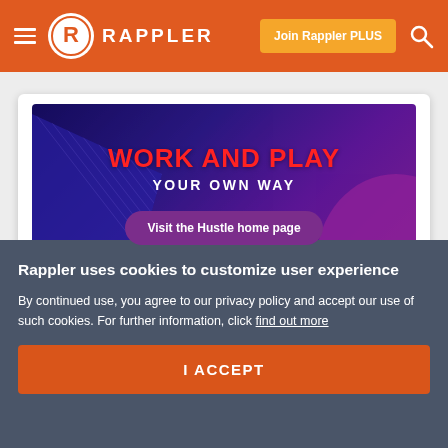RAPPLER | Join Rappler PLUS
[Figure (screenshot): Rappler website screenshot showing a promotional banner for 'Work and Play Your Own Way – Visit the Hustle home page' with a dark purple gradient background and decorative elements.]
Rappler uses cookies to customize user experience
By continued use, you agree to our privacy policy and accept our use of such cookies. For further information, click find out more
I ACCEPT